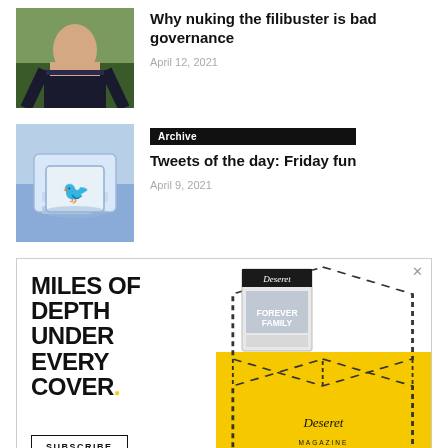[Figure (photo): Headshot of a man in a dark suit with arms crossed, outdoors background]
Why nuking the filibuster is bad governance
April 12, 2021
[Figure (photo): Close-up of a keyboard key with a Twitter bird logo]
Archive
Tweets of the day: Friday fun
April 9, 2021
[Figure (infographic): Deseret Magazine advertisement. Large bold text: MILES OF DEPTH UNDER EVERY COVER. Yellow background on right side with dashed hexagon shape, magazine cover image, Deseret Magazine logo, and SUBSCRIBE button.]